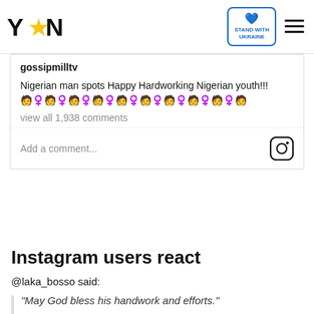YEN | STAND WITH UKRAINE
gossipmilltv

Nigerian man spots Happy Hardworking Nigerian youth!!! 🧑‍🦱🧑‍🦱🧑‍🦱

view all 1,938 comments
Add a comment...
Instagram users react
@laka_bosso said:
"May God bless his handwork and efforts."